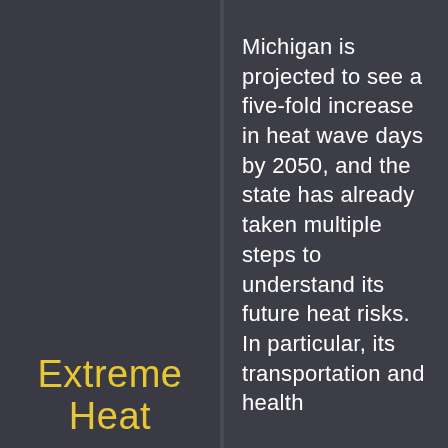Extreme Heat
Michigan is projected to see a five-fold increase in heat wave days by 2050, and the state has already taken multiple steps to understand its future heat risks. In particular, its transportation and health